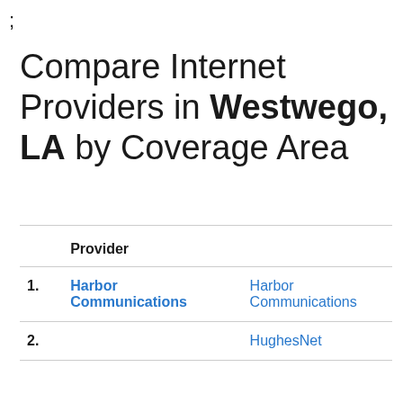;
Compare Internet Providers in Westwego, LA by Coverage Area
|  | Provider |  |
| --- | --- | --- |
| 1. | Harbor Communications | Harbor Communications |
| 2. |  | HughesNet |